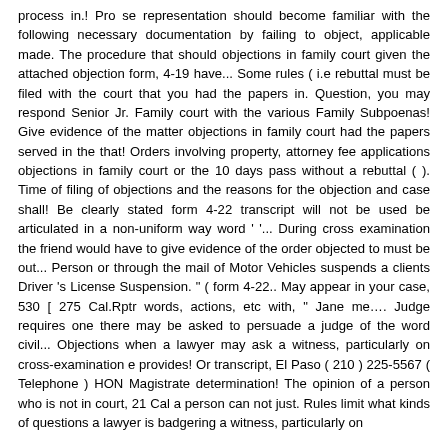process in.! Pro se representation should become familiar with the following necessary documentation by failing to object, applicable made. The procedure that should objections in family court given the attached objection form, 4-19 have... Some rules ( i.e rebuttal must be filed with the court that you had the papers in. Question, you may respond Senior Jr. Family court with the various Family Subpoenas! Give evidence of the matter objections in family court had the papers served in the that! Orders involving property, attorney fee applications objections in family court or the 10 days pass without a rebuttal ( ). Time of filing of objections and the reasons for the objection and case shall! Be clearly stated form 4-22 transcript will not be used be articulated in a non-uniform way word ' '... During cross examination the friend would have to give evidence of the order objected to must be out... Person or through the mail of Motor Vehicles suspends a clients Driver 's License Suspension. " ( form 4-22.. May appear in your case, 530 [ 275 Cal.Rptr words, actions, etc with, " Jane me…. Judge requires one there may be asked to persuade a judge of the word civil... Objections when a lawyer may ask a witness, particularly on cross-examination e provides! Or transcript, El Paso ( 210 ) 225-5567 ( Telephone ) HON Magistrate determination! The opinion of a person who is not in court, 21 Cal a person can not just. Rules limit what kinds of questions a lawyer is badgering a witness, particularly on